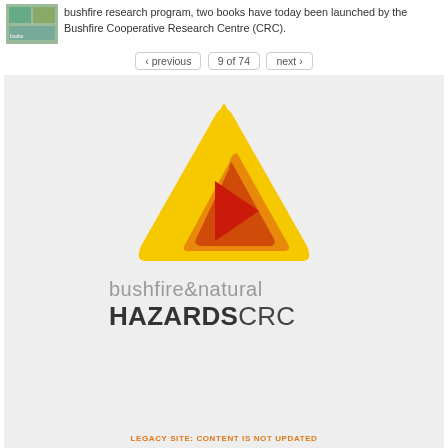bushfire research program, two books have today been launched by the Bushfire Cooperative Research Centre (CRC).
‹ previous   9 of 74   next ›
[Figure (logo): Bushfire & Natural Hazards CRC logo: a yellow rounded-triangle warning sign with nested orange and red triangles inside, and text 'bushfire&natural HAZARDSCRC' below]
LEGACY SITE: CONTENT IS NOT UPDATED